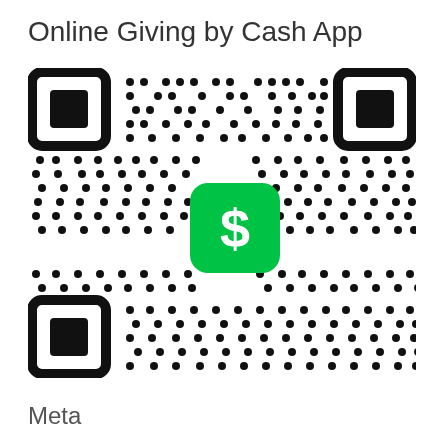Online Giving by Cash App
[Figure (other): Cash App QR code for online giving, featuring the Cash App green dollar sign icon in the center of the QR code pattern, with three corner finder squares.]
Meta